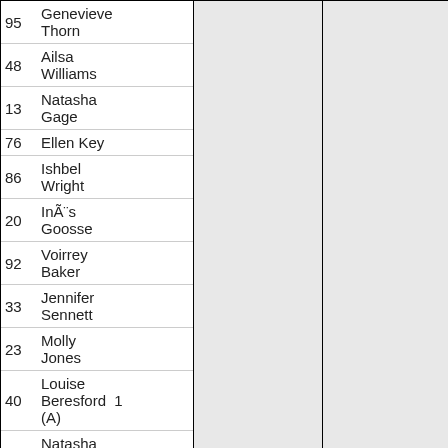| # | Name |  |  |
| --- | --- | --- | --- |
| 95 | Genevieve Thorn |  |  |
| 48 | Ailsa Williams |  |  |
| 13 | Natasha Gage |  |  |
| 76 | Ellen Key |  |  |
| 86 | Ishbel Wright |  |  |
| 20 | InÃ¨s Goosse |  |  |
| 92 | Voirrey Baker |  |  |
| 33 | Jennifer Sennett |  |  |
| 23 | Molly Jones |  |  |
| 40 | Louise Beresford (A) | 1 |  |
| 71 | Natasha Durie (NM) |  |  |
|  | 1  0  0 |  |  |